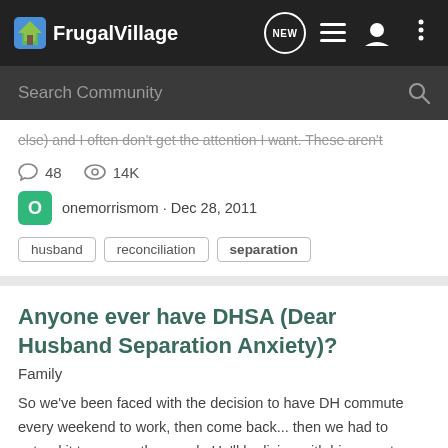FrugalVillage
Search Community
else) and I often don't get the attention I want. These aren't
48  14K
onemorrismom · Dec 28, 2011
husband  reconciliation  separation
Anyone ever have DHSA (Dear Husband Separation Anxiety)?
Family
So we've been faced with the decision to have DH commute every weekend to work, then come back... then we had to extend it to every other week. He'll be living with his parents up north and work for two weeks, then come home on the weekends that I need to get groceries and take care of